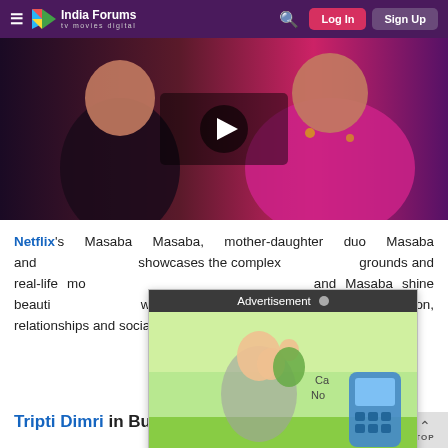India Forums — tv movies digital | Log In | Sign Up
[Figure (photo): Video thumbnail showing two women in Indian attire, one in black and one in magenta/pink saree, posing together with a play button overlay in the center]
Netflix's Masaba Masaba, mother-daughter duo Masaba and [Neena Gupta] showcases the complex [backgrounds and] real-life mo[ments. Neena G]and Masaba shine beauti[fully as a modern] woman who straddles [multiple worlds]: fashion, relationships and socializing.
[Figure (photo): Advertisement overlay showing a man and a boy (father and son) playing together outdoors, with a blue calculator/phone device visible]
Tripti Dimri in Bulbbul